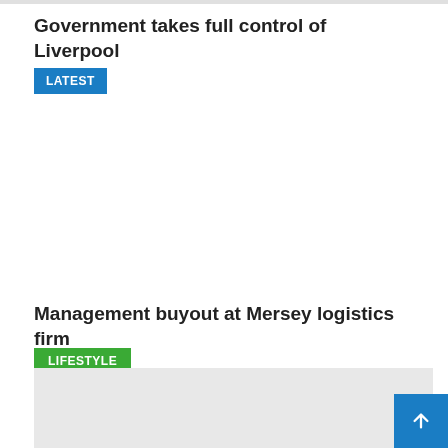Government takes full control of Liverpool
LATEST
Management buyout at Mersey logistics firm
LIFESTYLE
[Figure (other): Grey image placeholder area for article about Mersey logistics firm]